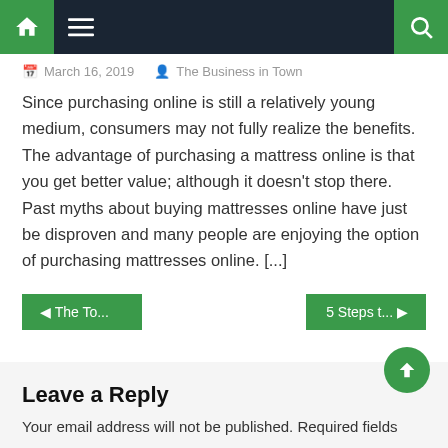Navigation bar with home, menu, and search icons
March 16, 2019   The Business in Town
Since purchasing online is still a relatively young medium, consumers may not fully realize the benefits. The advantage of purchasing a mattress online is that you get better value; although it doesn't stop there. Past myths about buying mattresses online have just be disproven and many people are enjoying the option of purchasing mattresses online. [...]
◀ The To...   5 Steps t... ▶
Leave a Reply
Your email address will not be published. Required fields